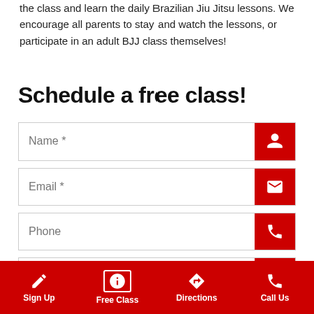the class and learn the daily Brazilian Jiu Jitsu lessons. We encourage all parents to stay and watch the lessons, or participate in an adult BJJ class themselves!
Schedule a free class!
[Figure (screenshot): Web form with four fields: Name *, Email *, Phone, Questions or comments? Each field has a red icon button on the right (person, envelope, phone, chat bubble icons).]
Sign Up | Free Class | Directions | Call Us